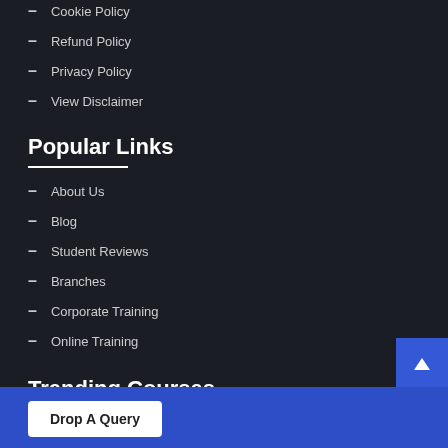Cookie Policy
Refund Policy
Privacy Policy
View Disclaimer
Popular Links
About Us
Blog
Student Reviews
Branches
Corporate Training
Online Training
Trending Courses
Drop A Query